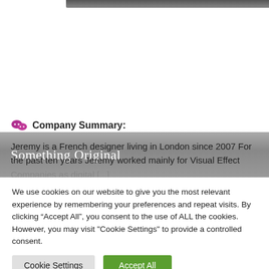[Figure (photo): Top portion of a dark image/photo, cropped at top of page]
Something Original
Company Summary:
Jeremy is a French designer living in London since 2007 For the past ten years Jeremy worked mainly for Visual Effect Companies as digital [...]
We use cookies on our website to give you the most relevant experience by remembering your preferences and repeat visits. By clicking “Accept All”, you consent to the use of ALL the cookies. However, you may visit "Cookie Settings" to provide a controlled consent.